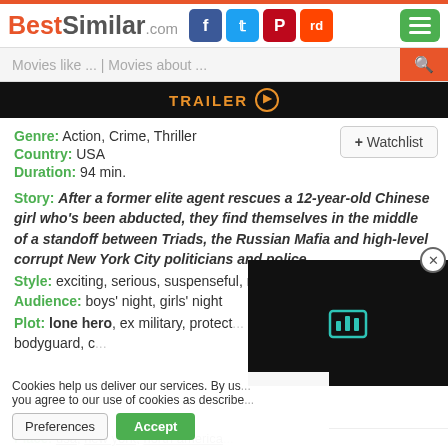BestSimilar.com
Movies like ... | Movies about ...
[Figure (screenshot): Dark trailer bar with TRAILER text and play button icon]
Genre: Action, Crime, Thriller
Country: USA
Duration: 94 min.
+ Watchlist
Story: After a former elite agent rescues a 12-year-old Chinese girl who's been abducted, they find themselves in the middle of a standoff between Triads, the Russian Mafia and high-level corrupt New York City politicians and police.
Style: exciting, serious, suspenseful, rough, stylized ...
Audience: boys' night, girls' night
Plot: lone hero, ex military, protect... tough guy, gunfight, bodyguard, c...
Cookies help us deliver our services. By us... you agree to our use of cookies as describe...
Place: usa, new york, north america...